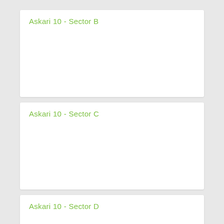Askari 10 - Sector B
Askari 10 - Sector C
Askari 10 - Sector D